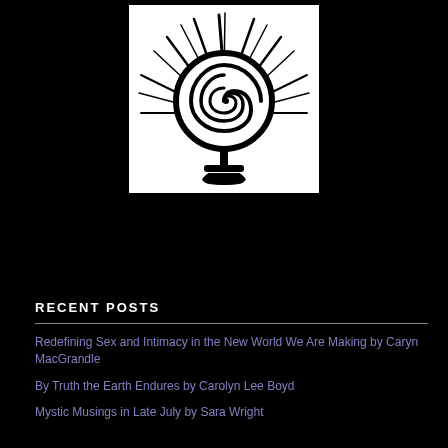[Figure (logo): A black and white illustration of a spiral sun goddess symbol — a female/Venus symbol (circle with a cross below) topped by a large spiral inside a circle, with stylized sun rays radiating outward from the circle]
RECENT POSTS
Redefining Sex and Intimacy in the New World We Are Making by Caryn MacGrandle
By Truth the Earth Endures by Carolyn Lee Boyd
Mystic Musings in Late July by Sara Wright